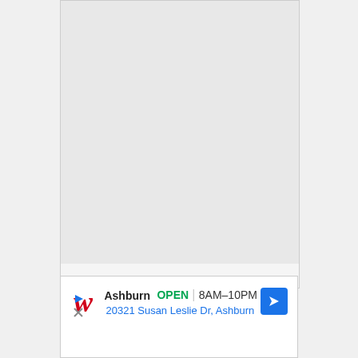[Figure (other): Large gray placeholder content area (main document card), light gray background with white footer strip at bottom]
[Figure (infographic): Walgreens advertisement card showing the Walgreens cursive W logo in red, store location 'Ashburn', status 'OPEN' in green, hours '8AM-10PM', address '20321 Susan Leslie Dr, Ashburn', a blue navigation/directions icon in top right, and play/close icons at bottom left]